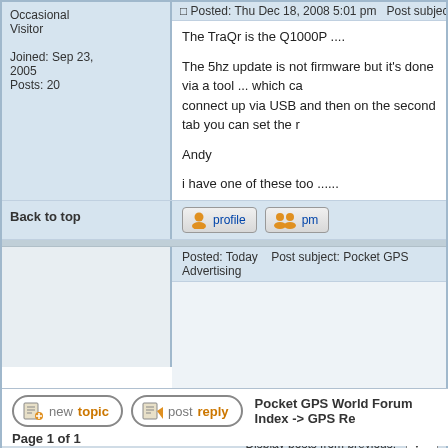Occasional Visitor
Joined: Sep 23, 2005
Posts: 20
Posted: Thu Dec 18, 2008 5:01 pm   Post subject:
The TraQr is the Q1000P ....
The 5hz update is not firmware but it's done via a tool ... which ca connect up via USB and then on the second tab you can set the r
Andy
i have one of these too ......
Back to top
[Figure (screenshot): Profile button with user icon]
[Figure (screenshot): PM button with two user icons]
Posted: Today    Post subject: Pocket GPS Advertising
Back to top
Display posts from previous:
[Figure (screenshot): New topic button]
[Figure (screenshot): Post reply button]
Pocket GPS World Forum Index -> GPS Re
Page 1 of 1